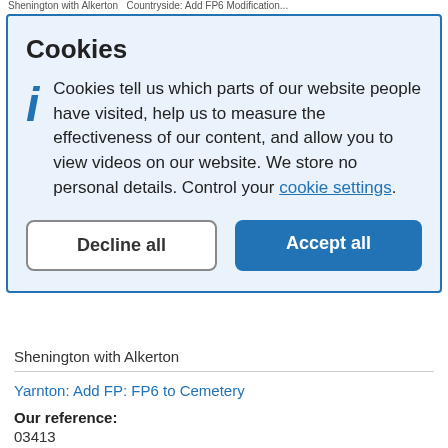Shenington with Alkerton  Countryside: Add FP6 Modification...
Cookies
Cookies tell us which parts of our website people have visited, help us to measure the effectiveness of our content, and allow you to view videos on our website. We store no personal details. Control your cookie settings.
Shenington with Alkerton
Yarnton: Add FP: FP6 to Cemetery
Our reference:
03413
Applicant name(s):